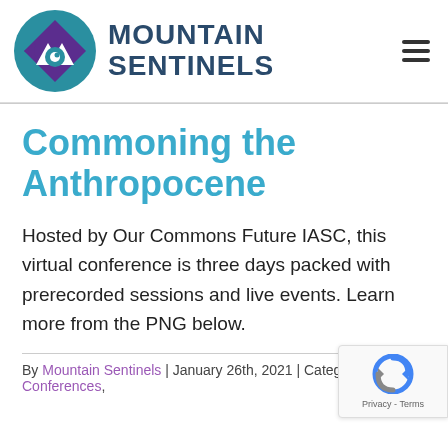[Figure (logo): Mountain Sentinels logo: circular icon with teal/purple mountain and eye design, alongside bold dark blue text MOUNTAIN SENTINELS]
Commoning the Anthropocene
Hosted by Our Commons Future IASC, this virtual conference is three days packed with prerecorded sessions and live events. Learn more from the PNG below.
By Mountain Sentinels | January 26th, 2021 | Categories: Conferences,